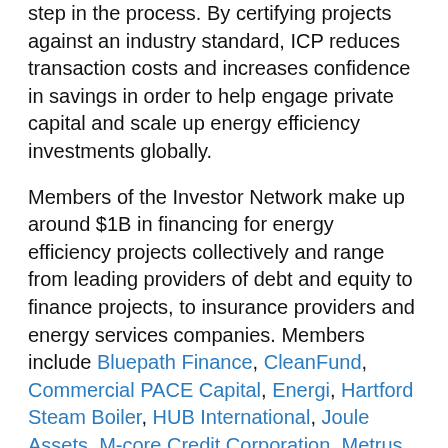step in the process. By certifying projects against an industry standard, ICP reduces transaction costs and increases confidence in savings in order to help engage private capital and scale up energy efficiency investments globally.
Members of the Investor Network make up around $1B in financing for energy efficiency projects collectively and range from leading providers of debt and equity to finance projects, to insurance providers and energy services companies. Members include Bluepath Finance, CleanFund, Commercial PACE Capital, Energi, Hartford Steam Boiler, HUB International, Joule Assets, M-core Credit Corporation, Metrus Energy, Noesis, Petros PACE Finance, ReNewAll LLC, Renew Financial, and Spark Fund.
A majority of Investor Network members are demonstrating the value ICP provides by offering incentives such as accelerated underwriting, reduced transaction fees, and preferable terms for Investor